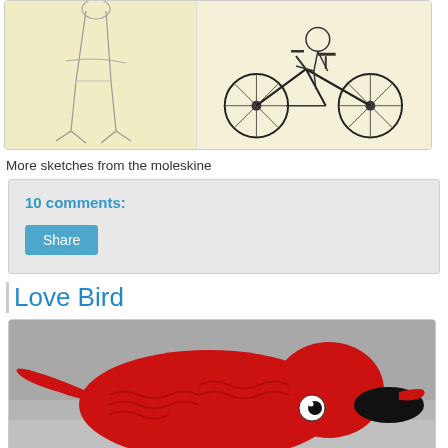[Figure (illustration): Sketch drawings from a moleskine notebook: left side shows a figure with legs/feet in pencil on cream paper, right side shows a detailed ink drawing of a bicycle with a figure riding it]
More sketches from the moleskine
10 comments:
Share
Love Bird
[Figure (photo): Close-up photo of a red crocheted bird (amigurumi) with a black beak area and a white googly eye, lying on a gray surface]